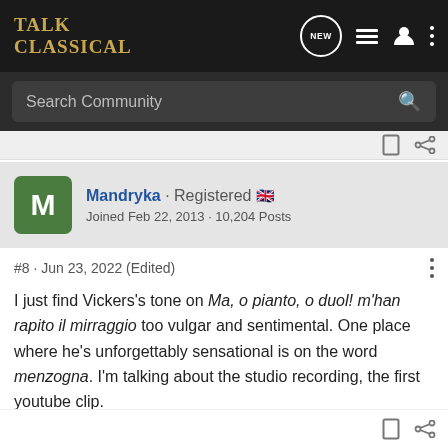Talk Classical
Search Community
[Figure (other): User profile card: avatar M (green), username Mandryka, Registered, UK flag, Joined Feb 22, 2013, 10,204 Posts]
#8 · Jun 23, 2022 (Edited)
I just find Vickers's tone on Ma, o pianto, o duol! m'han rapito il mirraggio too vulgar and sentimental. One place where he's unforgettably sensational is on the word menzogna. I'm talking about the studio recording, the first youtube clip.